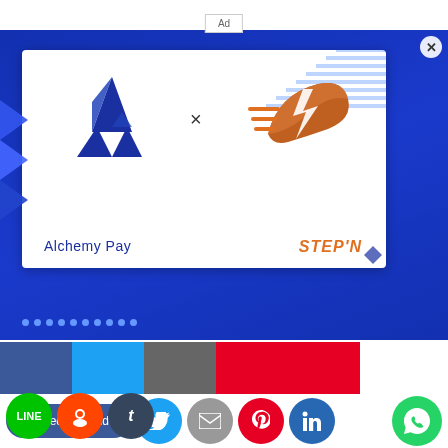[Figure (screenshot): Ad placeholder box centered near top]
[Figure (photo): Alchemy Pay x STEP'N partnership announcement banner. White card on dark blue background showing Alchemy Pay logo (blue rocket/triangle icon) and STEP'N logo (orange running shoe with lightning bolt) connected by an 'x', with brand names below. Navigation dots and X close button visible.]
PRESS RELEASE. The leading fiat-crypto payment
[Figure (infographic): Social share bar with Facebook, Twitter, Home, Pinterest, YouTube icon boxes in top row, and Recommend 0, Twitter, Email, Pinterest, LinkedIn share buttons plus WhatsApp floating button on right, and Line, Reddit, Tumblr buttons in second row.]